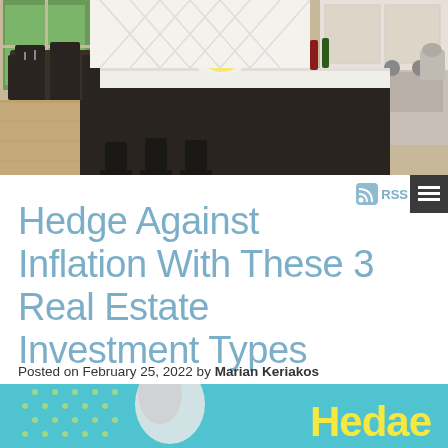[Figure (photo): Luxurious kitchen interior with dark wood island, white countertop, modern bar stools, and dining area visible in background]
Hedge Against Inflation With These 3 Real Estate Investment Types
Posted on February 25, 2022 by Marian Keriakos
[Figure (infographic): Social media sharing icons: Twitter (bird) and Facebook (f) in dark rounded square buttons]
[Figure (photo): Partial view of article banner image with blue/yellow background and large text reading 'Hedge']